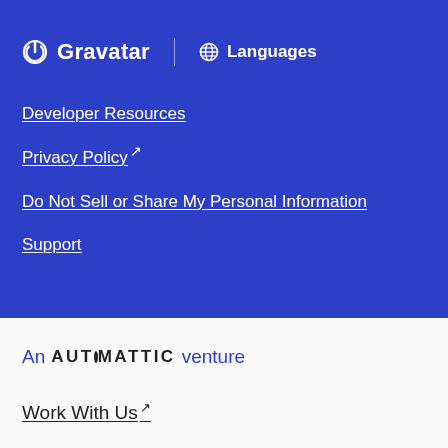[Figure (logo): Gravatar logo with power button icon and text, and Languages button with globe icon]
Developer Resources
Privacy Policy ↗
Do Not Sell or Share My Personal Information
Support
An AUTOMATTIC venture
Work With Us ↗